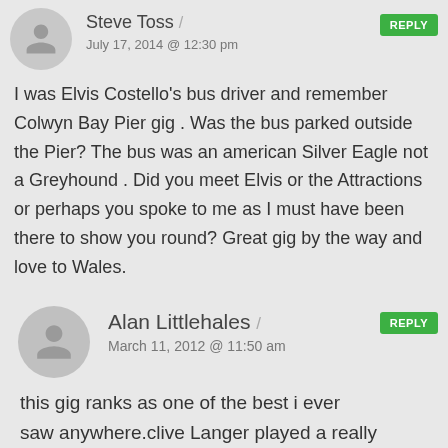Steve Toss
July 17, 2014 @ 12:30 pm
I was Elvis Costello’s bus driver and remember Colwyn Bay Pier gig . Was the bus parked outside the Pier? The bus was an american Silver Eagle not a Greyhound . Did you meet Elvis or the Attractions or perhaps you spoke to me as I must have been there to show you round? Great gig by the way and love to Wales.
Alan Littlehales
March 11, 2012 @ 11:50 am
this gig ranks as one of the best i ever saw anywhere.clive Langer played a really great set and Costello banged out a seamingly endless